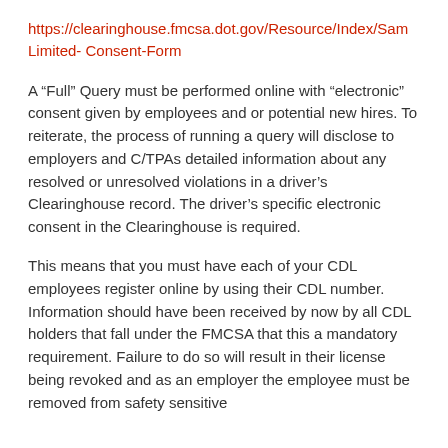https://clearinghouse.fmcsa.dot.gov/Resource/Index/Sample-Limited-Consent-Form
A “Full” Query must be performed online with “electronic” consent given by employees and or potential new hires. To reiterate, the process of running a query will disclose to employers and C/TPAs detailed information about any resolved or unresolved violations in a driver’s Clearinghouse record. The driver’s specific electronic consent in the Clearinghouse is required.
This means that you must have each of your CDL employees register online by using their CDL number. Information should have been received by now by all CDL holders that fall under the FMCSA that this a mandatory requirement. Failure to do so will result in their license being revoked and as an employer the employee must be removed from safety sensitive